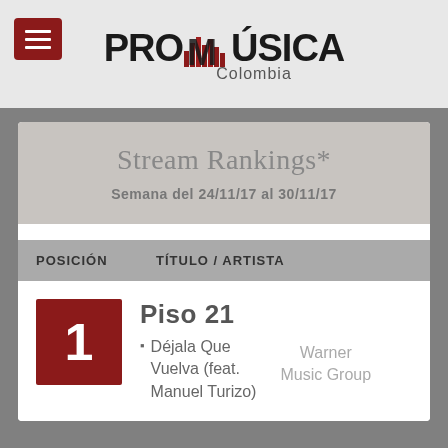[Figure (logo): ProMúsica Colombia logo with red bar chart graphic in the middle of the word PROMUSICA, and subtitle Colombia below]
Stream Rankings*
Semana del 24/11/17 al 30/11/17
| POSICIÓN | TÍTULO / ARTISTA |
| --- | --- |
| 1 | Piso 21 · Déjala Que Vuelva (feat. Manuel Turizo) | Warner Music Group |